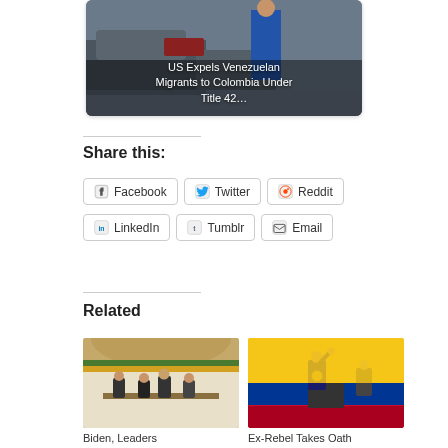[Figure (photo): Photo of Venezuelan migrants near vehicles, with overlay text: US Expels Venezuelan Migrants to Colombia Under Title 42...]
Share this:
Facebook  Twitter  Reddit  LinkedIn  Tumblr  Email
Related
[Figure (photo): Photo of Biden and leaders at an event in an ornate hall]
[Figure (photo): Photo of Ex-Rebel taking oath, person raising fist with medal on stage]
Biden, Leaders
Ex-Rebel Takes Oath